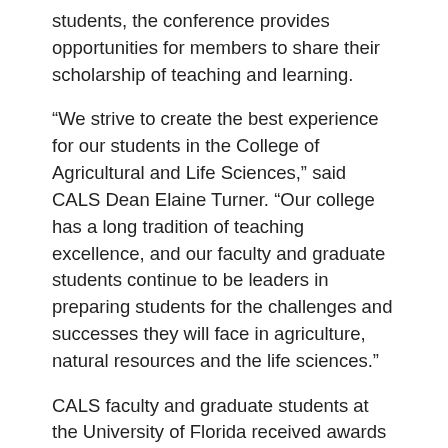students, the conference provides opportunities for members to share their scholarship of teaching and learning.
“We strive to create the best experience for our students in the College of Agricultural and Life Sciences,” said CALS Dean Elaine Turner. “Our college has a long tradition of teaching excellence, and our faculty and graduate students continue to be leaders in preparing students for the challenges and successes they will face in agriculture, natural resources and the life sciences.”
CALS faculty and graduate students at the University of Florida received awards across three categories: